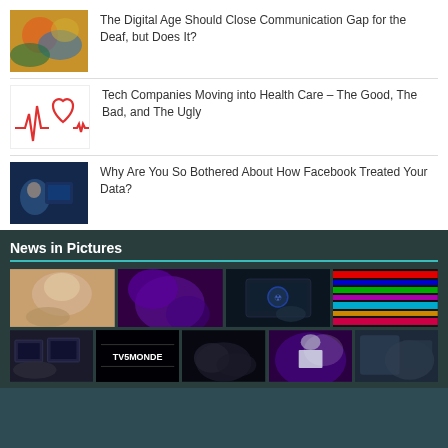The Digital Age Should Close Communication Gap for the Deaf, but Does It?
Tech Companies Moving into Health Care – The Good, The Bad, and The Ugly
Why Are You So Bothered About How Facebook Treated Your Data?
News in Pictures
[Figure (photo): Grid of news thumbnail photos in the News in Pictures section]
[Figure (photo): Second row of news thumbnail photos]